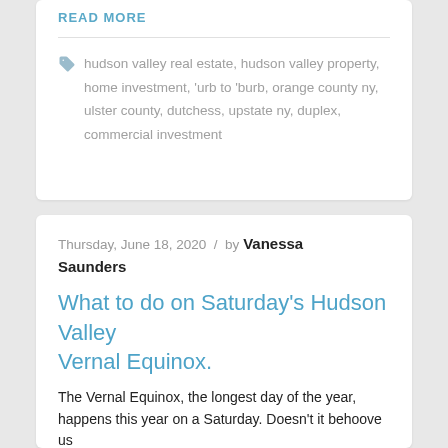READ MORE
hudson valley real estate, hudson valley property, home investment, 'urb to 'burb, orange county ny, ulster county, dutchess, upstate ny, duplex, commercial investment
Thursday, June 18, 2020  /  by Vanessa Saunders
What to do on Saturday's Hudson Valley Vernal Equinox.
The Vernal Equinox, the longest day of the year, happens this year on a Saturday. Doesn't it behoove us to...